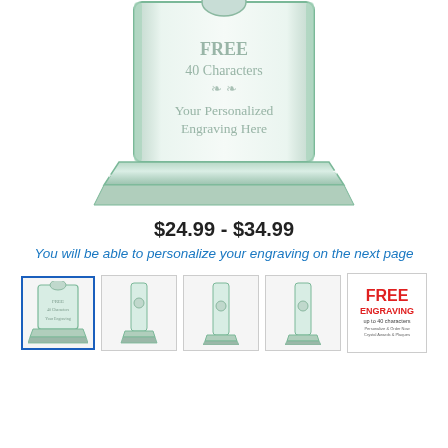[Figure (photo): Close-up of a glass crystal award/plaque with green-tinted glass showing engraved text: FREE, 40 Characters, decorative flourish, Your Personalized Engraving Here. The plaque sits on a matching glass base.]
$24.99 - $34.99
You will be able to personalize your engraving on the next page
[Figure (photo): Row of 5 thumbnail images: first selected (full glass award), second (tall thin glass trophy front view), third (taller glass trophy front view), fourth (similar glass trophy), fifth (FREE ENGRAVING promotional graphic with text 'up to 40 characters')]